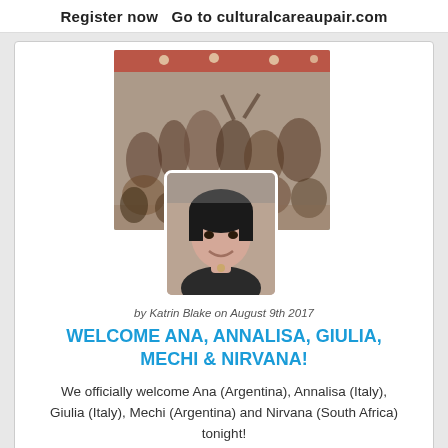Register now  Go to culturalcareaupair.com
[Figure (photo): Group photo of au pairs at an event, with a portrait photo of a woman overlaid in the lower center]
by Katrin Blake on August 9th 2017
WELCOME ANA, ANNALISA, GIULIA, MECHI & NIRVANA!
We officially welcome Ana (Argentina), Annalisa (Italy), Giulia (Italy), Mechi (Argentina) and Nirvana (South Africa) tonight!
[Figure (photo): Partial image of a building with columns, likely a landmark or museum]